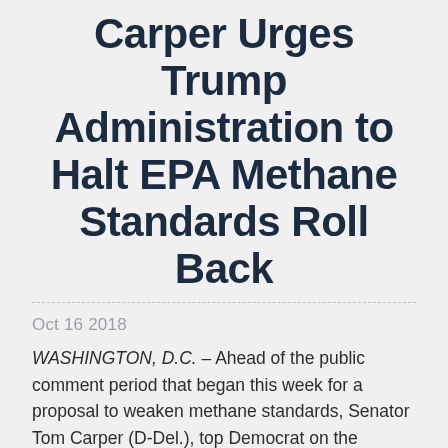Carper Urges Trump Administration to Halt EPA Methane Standards Roll Back
Oct 16 2018
WASHINGTON, D.C. – Ahead of the public comment period that began this week for a proposal to weaken methane standards, Senator Tom Carper (D-Del.), top Democrat on the Environment and Public Works Committee (EPW), joined his Democratic colleagues in a letter urging the Environmental Protection Agency (EPA) to extend the public comment period for the rule and provide adequate